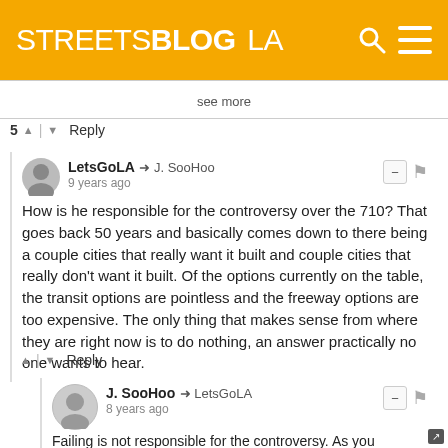STREETSBLOG LA
see more
5 ▲ | ▼ Reply
LetsGoLA → J. SooHoo
9 years ago
How is he responsible for the controversy over the 710? That goes back 50 years and basically comes down to there being a couple cities that really want it built and couple cities that really don't want it built. Of the options currently on the table, the transit options are pointless and the freeway options are too expensive. The only thing that makes sense from where they are right now is to do nothing, an answer practically no one wants to hear.
▲ | ▼ Reply
J. SooHoo → LetsGoLA
8 years ago
Failing is not responsible for the controversy. As you